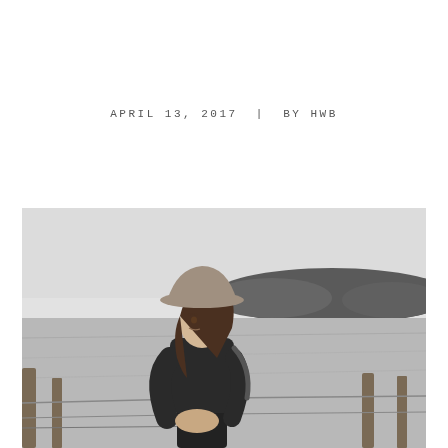APRIL 13, 2017  |  BY HWB
[Figure (photo): Black and white photograph of a young woman wearing a wide-brimmed hat and leather jacket, sitting on a wooden fence in a rural field with a wooded hill in the background.]